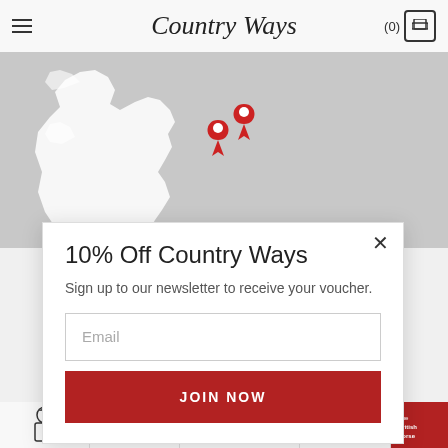Country Ways
[Figure (map): Greyed out map of Scotland with two red location pin markers positioned in the northern part of the country]
10% Off Country Ways
Sign up to our newsletter to receive your voucher.
Email
JOIN NOW
[Figure (logo): Row of partner/association logos at the bottom including BASC, The British Horse and others]